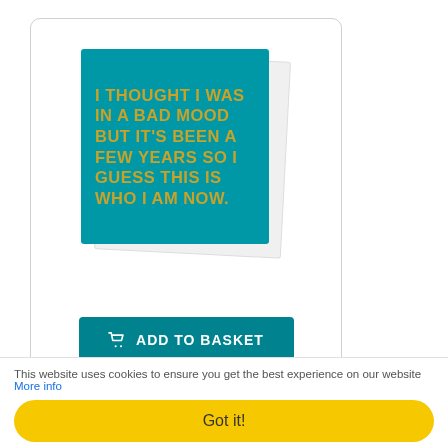[Figure (illustration): A greeting card with teal/turquoise background and gold bold uppercase text reading: I THOUGHT I WAS IN A BAD MOOD BUT IT'S BEEN A FEW YEARS SO I GUESS THIS IS WHO I AM NOW. Card is shown with a slight white shadow card behind it.]
ADD TO BASKET
Bad Mood Card
£2.75
This website uses cookies to ensure you get the best experience on our website More info
Got it!